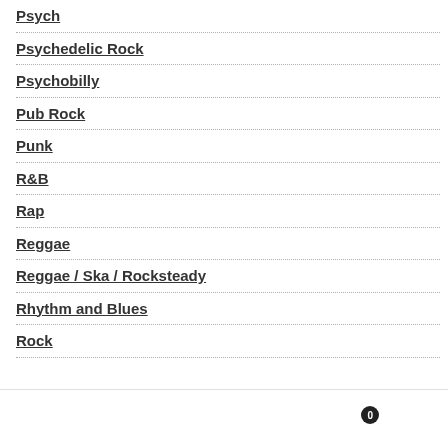Psych
Psychedelic Rock
Psychobilly
Pub Rock
Punk
R&B
Rap
Reggae
Reggae / Ska / Rocksteady
Rhythm and Blues
Rock
Navigation bar with user, search, and cart (0) icons